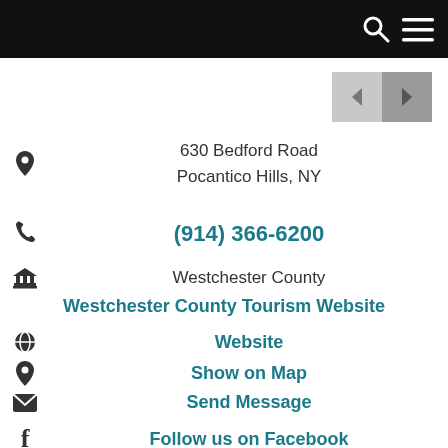630 Bedford Road
Pocantico Hills, NY
(914) 366-6200
Westchester County
Westchester County Tourism Website
Website
Show on Map
Send Message
Follow us on Facebook
Open: Wednesday - Sunday, 10AM 5PM
Grounds open to members only